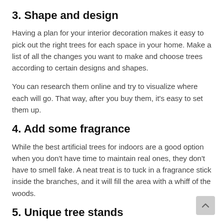3. Shape and design
Having a plan for your interior decoration makes it easy to pick out the right trees for each space in your home. Make a list of all the changes you want to make and choose trees according to certain designs and shapes.
You can research them online and try to visualize where each will go. That way, after you buy them, it's easy to set them up.
4. Add some fragrance
While the best artificial trees for indoors are a good option when you don't have time to maintain real ones, they don't have to smell fake. A neat treat is to tuck in a fragrance stick inside the branches, and it will fill the area with a whiff of the woods.
5. Unique tree stands